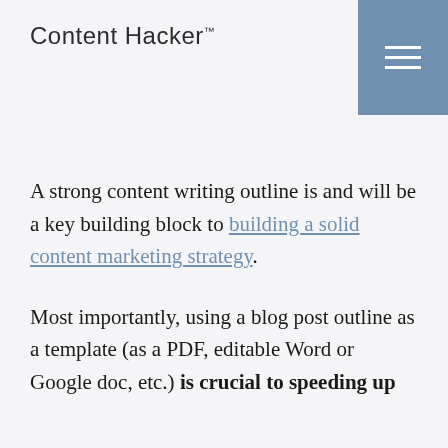Content Hacker™
A strong content writing outline is and will be a key building block to building a solid content marketing strategy.
Most importantly, using a blog post outline as a template (as a PDF, editable Word or Google doc, etc.) is crucial to speeding up